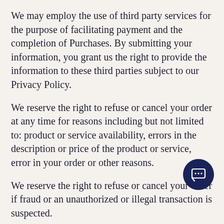We may employ the use of third party services for the purpose of facilitating payment and the completion of Purchases. By submitting your information, you grant us the right to provide the information to these third parties subject to our Privacy Policy.
We reserve the right to refuse or cancel your order at any time for reasons including but not limited to: product or service availability, errors in the description or price of the product or service, error in your order or other reasons.
We reserve the right to refuse or cancel your order if fraud or an unauthorized or illegal transaction is suspected.
4. Contests, Sweepstakes and Promotions